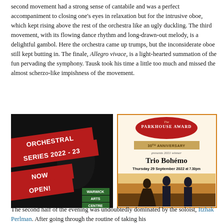second movement had a strong sense of cantabile and was a perfect accompaniment to closing one's eyes in relaxation but for the intrusive oboe, which kept rising above the rest of the orchestra like an ugly duckling. The third movement, with its flowing dance rhythm and long-drawn-out melody, is a delightful gambol. Here the orchestra came up trumps, but the inconsiderate oboe still kept butting in. The finale, Allegro vivace, is a light-hearted summation of the fun pervading the symphony. Tausk took his time a little too much and missed the almost scherzo-like impishness of the movement.
[Figure (photo): Advertisement for Orchestral Series 2022-23 Now Open at Warwick Arts Centre, showing a conductor with baton against a dark background]
[Figure (photo): Advertisement for The Parkhouse Award 30th Anniversary presents 2021 winner Trio Bohémo, Thursday 29 September 2022 at 7.30pm, showing three musicians on an outdoor street background]
The second half of the evening was undoubtedly dominated by the soloist, Itzhak Perlman. After going through the routine of taking his